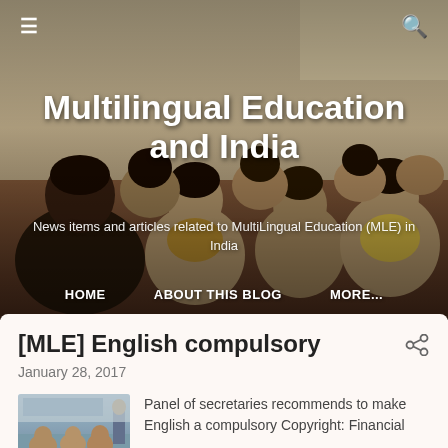[Figure (photo): Hero banner photo of Indian schoolchildren sitting on the floor in a classroom, overlaid with website title and navigation]
Multilingual Education and India
News items and articles related to MultiLingual Education (MLE) in India
HOME   ABOUT THIS BLOG   MORE...
[MLE] English compulsory
January 28, 2017
[Figure (photo): Thumbnail photo of a classroom with students and teacher]
Panel of secretaries recommends to make English a compulsory Copyright: Financial